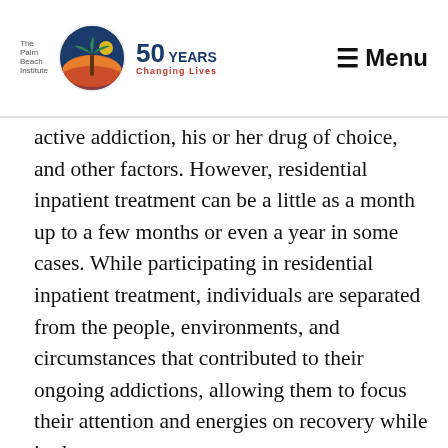The Palm Beach Institute | 50 Years Changing Lives | Menu
active addiction, his or her drug of choice, and other factors. However, residential inpatient treatment can be a little as a month up to a few months or even a year in some cases. While participating in residential inpatient treatment, individuals are separated from the people, environments, and circumstances that contributed to their ongoing addictions, allowing them to focus their attention and energies on recovery while in the program.
Residential inpatient treatment tends to be more beneficial for individuals who have suffered from less success than outpatient programs in the past, or otherwise would prefer the reassurance of recovery in
Tap to GET HELP NOW: (855) 440-0232